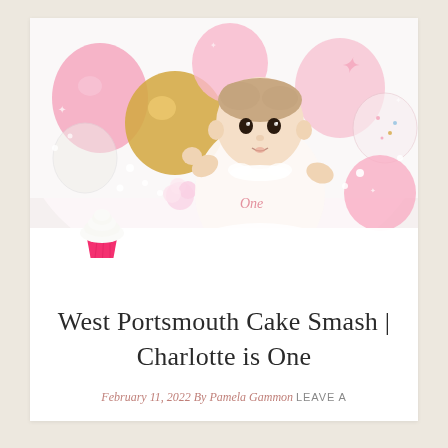[Figure (photo): A baby girl wearing a white 'One' romper sitting among pink and gold balloons, flowers, and a pink cupcake on a white background. Birthday cake smash photo session.]
West Portsmouth Cake Smash | Charlotte is One
February 11, 2022 By Pamela Gammon LEAVE A